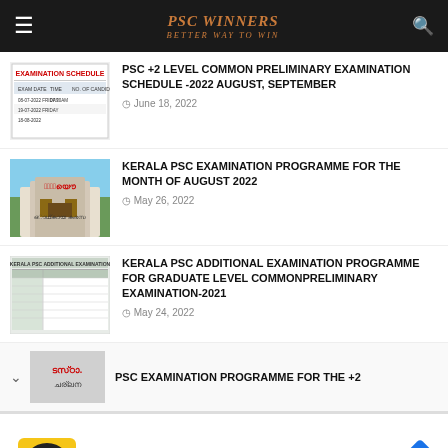PSC WINNERS - BETTER WAY TO WIN
PSC +2 LEVEL COMMON PRELIMINARY EXAMINATION SCHEDULE -2022 AUGUST, SEPTEMBER
June 18, 2022
KERALA PSC EXAMINATION PROGRAMME FOR THE MONTH OF AUGUST 2022
May 26, 2022
KERALA PSC ADDITIONAL EXAMINATION PROGRAMME FOR GRADUATE LEVEL COMMONPRELIMINARY EXAMINATION-2021
May 24, 2022
PSC EXAMINATION PROGRAMME FOR THE +2